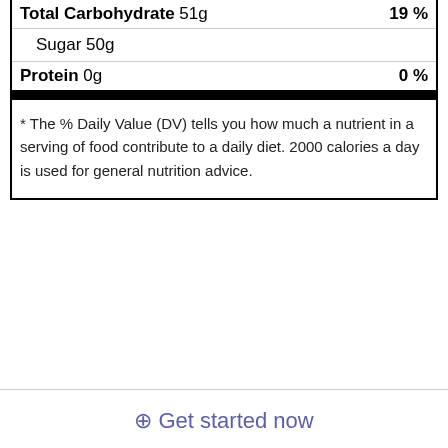| Total Carbohydrate 51g | 19 % |
| Sugar 50g |  |
| Protein 0g | 0 % |
* The % Daily Value (DV) tells you how much a nutrient in a serving of food contribute to a daily diet. 2000 calories a day is used for general nutrition advice.
⊕ Get started now